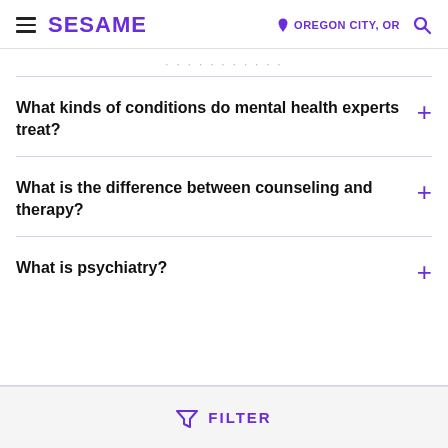SESAME — OREGON CITY, OR
(partial text visible at top)
What kinds of conditions do mental health experts treat?
What is the difference between counseling and therapy?
What is psychiatry?
FILTER